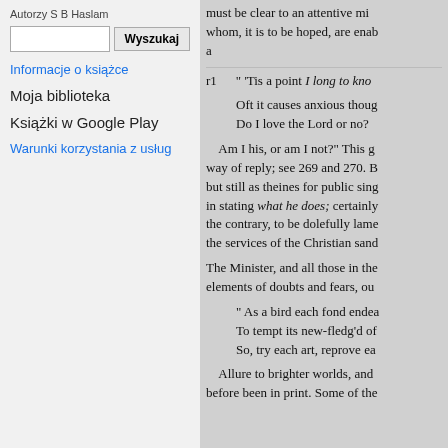Autorzy S B Haslam
Wyszukaj
Informacje o książce
Moja biblioteka
Książki w Google Play
Warunki korzystania z usług
must be clear to an attentive mi... whom, it is to be hoped, are enab... a
" 'Tis a point I long to kno... Oft it causes anxious thoug... Do I love the Lord or no? Am I his, or am I not?" This g... way of reply; see 269 and 270. B... but still as theines for public sing... in stating what he does; certainly... the contrary, to be dolefully lame... the services of the Christian sand... The Minister, and all those in the... elements of doubts and fears, ou... " As a bird each fond endea... To tempt its new-fledg'd of... So, try each art, reprove ea... Allure to brighter worlds, and... before been in print. Some of the...